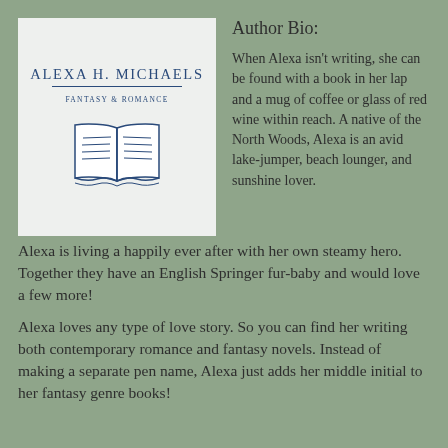[Figure (logo): Author logo for Alexa H. Michaels, Fantasy & Romance, with an open book illustration in blue on a light gray background]
Author Bio:
When Alexa isn't writing, she can be found with a book in her lap and a mug of coffee or glass of red wine within reach. A native of the North Woods, Alexa is an avid lake-jumper, beach lounger, and sunshine lover.
Alexa is living a happily ever after with her own steamy hero. Together they have an English Springer fur-baby and would love a few more!
Alexa loves any type of love story. So you can find her writing both contemporary romance and fantasy novels. Instead of making a separate pen name, Alexa just adds her middle initial to her fantasy genre books!